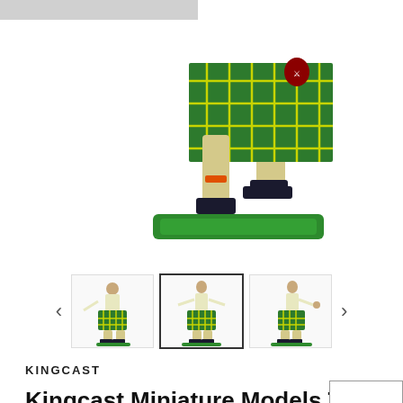[Figure (photo): Close-up photo of a Kingcast miniature toy soldier figure dressed in Highland games attire — green tartan kilt, cream/beige top and stockings, black shoes — mounted on a green rectangular base, shown from mid-torso down. White background.]
[Figure (photo): Thumbnail 1: Small Kingcast Highland Shot Putt game figure, front-left view, green tartan kilt, cream top, green base.]
[Figure (photo): Thumbnail 2: Small Kingcast Highland Shot Putt game figure, front view, green tartan kilt, cream top, green base.]
[Figure (photo): Thumbnail 3: Small Kingcast Highland Shot Putt game figure, right-side view, green tartan kilt, cream top, green base.]
KINGCAST
Kingcast Miniature Models Toy Soldiers H4 Highland Shot Putt Game Figure
SHOW SIDEBAR +